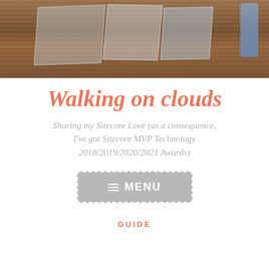[Figure (photo): Photo of glass/acrylic award trophies arranged on a wooden surface with horizontal wood grain lines. Several transparent awards and one blue-tinted award visible.]
Walking on clouds
Sharing my Sitecore Love (as a consequence, I've got Sitecore MVP Technology 2018/2019/2020/2021 Awards)
[Figure (screenshot): Menu button with hamburger icon and text MENU on a grey background with dashed border]
GUIDE